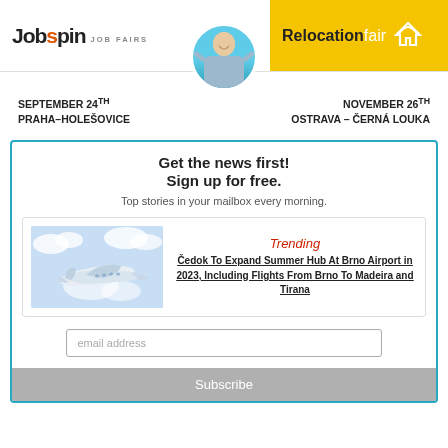[Figure (logo): Jobspin Job Fairs logo on the left and Relocationfair logo on yellow background on the right, with a person image in center]
SEPTEMBER 24th PRAHA–HOLEŠOVICE
NOVEMBER 26th OSTRAVA – ČERNÁ LOUKA
Get the news first!
Sign up for free.
Top stories in your mailbox every morning.
[Figure (photo): Photo of a commercial airplane in flight against a cloudy sky]
Trending
Čedok To Expand Summer Hub At Brno Airport in 2023, Including Flights From Brno To Madeira and Tirana
email address
Subscribe